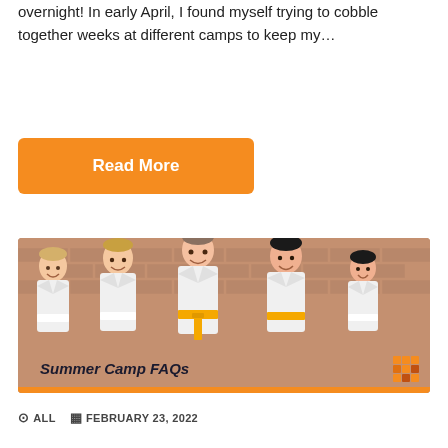overnight! In early April, I found myself trying to cobble together weeks at different camps to keep my…
[Figure (other): Orange 'Read More' button]
[Figure (photo): Five children in white martial arts uniforms (gi) with yellow belts, smiling and posing together in front of a brick wall, with overlay text 'Summer Camp FAQs' and a small logo in the bottom right corner, orange bar at the bottom.]
ALL   FEBRUARY 23, 2022